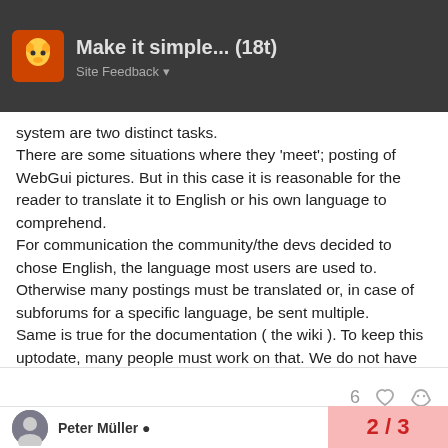Make it simple... (18t)
system are two distinct tasks.
There are some situations where they 'meet'; posting of WebGui pictures. But in this case it is reasonable for the reader to translate it to English or his own language to comprehend.
For communication the community/the devs decided to chose English, the language most users are used to. Otherwise many postings must be translated or, in case of subforums for a specific language, be sent multiple.
Same is true for the documentation ( the wiki ). To keep this uptodate, many people must work on that. We do not have this great man power ( each worker in this scenario must have good knowledge of the language and the topic he writes on ).
Regards,
Bernhard
Peter Müller  2 / 3